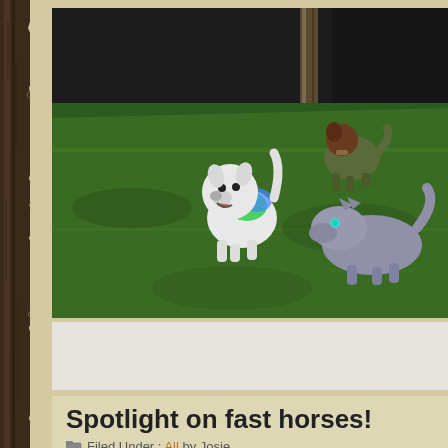[Figure (screenshot): A 3D video game screenshot showing animated dog/wolf-like creatures on a green grass field with dark walls in the background. One white dog with colorful markings faces the camera in the center, a gray wolf-like creature is in the lower right, and a brown/green dog is in the upper right.]
Spotlight on fast horses!
Filed Under : All by Josie